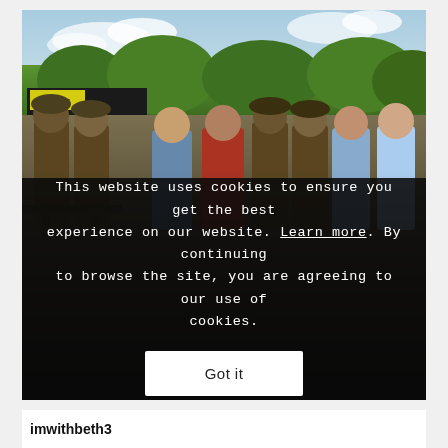[Figure (photo): Group photo of people at an outdoor event. Several individuals in WWI-era military uniforms with tin helmets stand alongside civilians. Background shows trees, sky, and a tent/stall with 'CHEESE' sign. Three people in foreground appear to be press with lanyards, wearing casual clothes (denim jacket, red hoodie, floral dress).]
This website uses cookies to ensure you get the best experience on our website. Learn more. By continuing to browse the site, you are agreeing to our use of cookies.
Got it
imwithbeth3